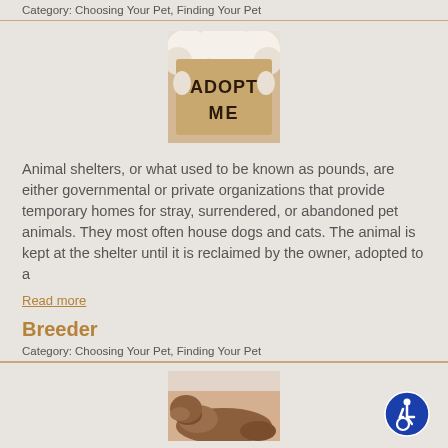Category: Choosing Your Pet, Finding Your Pet
[Figure (photo): A white fluffy dog or cat holding a cardboard sign that reads 'ADOPT ME']
Animal shelters, or what used to be known as pounds, are either governmental or private organizations that provide temporary homes for stray, surrendered, or abandoned pet animals. They most often house dogs and cats. The animal is kept at the shelter until it is reclaimed by the owner, adopted to a
Read more
Breeder
Category: Choosing Your Pet, Finding Your Pet
[Figure (photo): A brown dog lying down, partially visible at the bottom of the page]